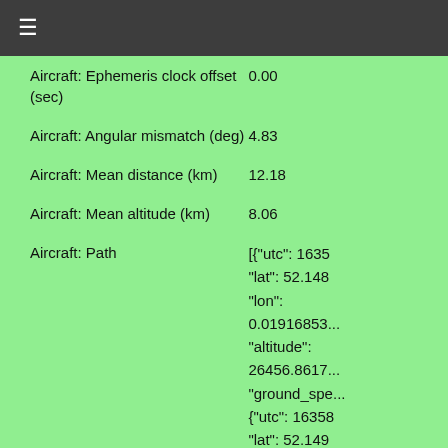≡
| Parameter | Value |
| --- | --- |
| Aircraft: Ephemeris clock offset (sec) | 0.00 |
| Aircraft: Angular mismatch (deg) | 4.83 |
| Aircraft: Mean distance (km) | 12.18 |
| Aircraft: Mean altitude (km) | 8.06 |
| Aircraft: Path | [{"utc": 1635
"lat": 52.148
"lon":
0.01916853...
"altitude":
26456.8617...
"ground_spe...
{"utc": 16358
"lat": 52.149
"lon":
0.01434013... |